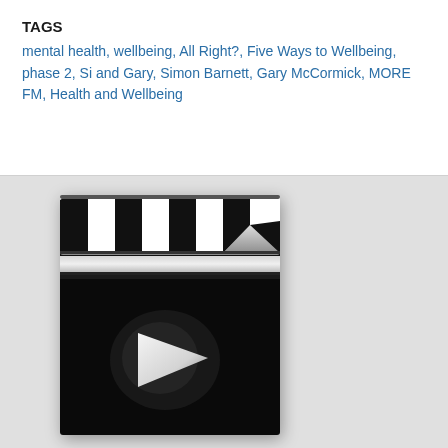TAGS
mental health, wellbeing, All Right?, Five Ways to Wellbeing, phase 2, Si and Gary, Simon Barnett, Gary McCormick, MORE FM, Health and Wellbeing
[Figure (illustration): A clapperboard (film slate) with black and white chevron stripes on the top flap section, and a black lower section containing a glowing white play button triangle in the center.]